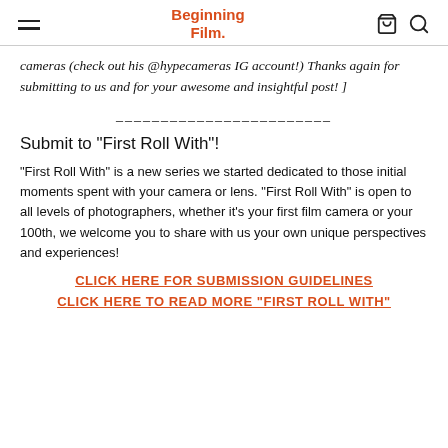Beginning Film.
cameras (check out his @hypecameras IG account!) Thanks again for submitting to us and for your awesome and insightful post! ]
————————————————
Submit to "First Roll With"!
"First Roll With" is a new series we started dedicated to those initial moments spent with your camera or lens. "First Roll With" is open to all levels of photographers, whether it's your first film camera or your 100th, we welcome you to share with us your own unique perspectives and experiences!
CLICK HERE FOR SUBMISSION GUIDELINES
CLICK HERE TO READ MORE "FIRST ROLL WITH"